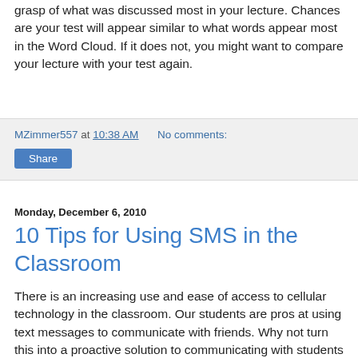grasp of what was discussed most in your lecture.  Chances are your test will appear similar to what words appear most in the Word Cloud.  If it does not, you might want to compare your lecture with your test again.
MZimmer557 at 10:38 AM   No comments:
Share
Monday, December 6, 2010
10 Tips for Using SMS in the Classroom
There is an increasing use and ease of access to cellular technology in the classroom.  Our students are pros at using text messages to communicate with friends.  Why not turn this into a proactive solution to communicating with students in and out of the classroom.  Remember to get your students information at the beginning of the year.  Do they have an unlimited plan?  Can they accept and send MMS messages?